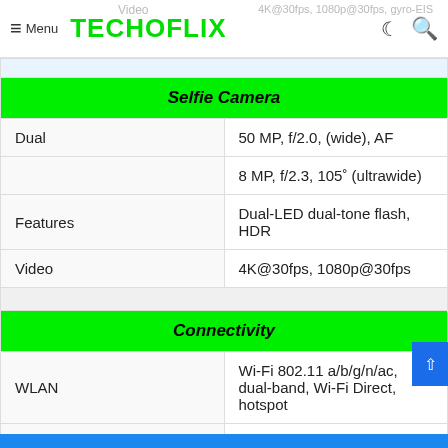TECHOFLIX — Menu, dark mode, search
| Feature | Value |
| --- | --- |
| Selfie Camera |  |
| Dual | 50 MP, f/2.0, (wide), AF |
|  | 8 MP, f/2.3, 105° (ultrawide) |
| Features | Dual-LED dual-tone flash, HDR |
| Video | 4K@30fps, 1080p@30fps |
| Connectivity |  |
| WLAN | Wi-Fi 802.11 a/b/g/n/ac, dual-band, Wi-Fi Direct, hotspot |
| Bluetooth | 5.2, A2DP, LE, aptX HD |
| GPS | Yes |